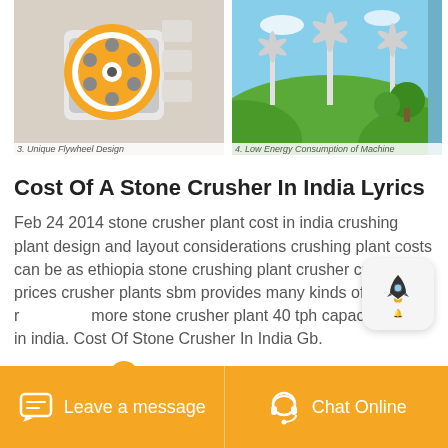[Figure (photo): Two product images side by side: left shows a mechanical stone crusher machine with orange/yellow wheel, right shows wind turbines on a green hill with blue sky]
3. Unique Flywheel Design        4. Low Energy Consumption of Machine
Cost Of A Stone Crusher In India Lyrics
Feb 24 2014 stone crusher plant cost in india crushing plant design and layout considerations crushing plant costs can be as ethiopia stone crushing plant crusher crusher prices crusher plants sbm provides many kinds of solutions re more stone crusher plant 40 tph capacity made in india. Cost Of Stone Crusher In India Gb.
More Details